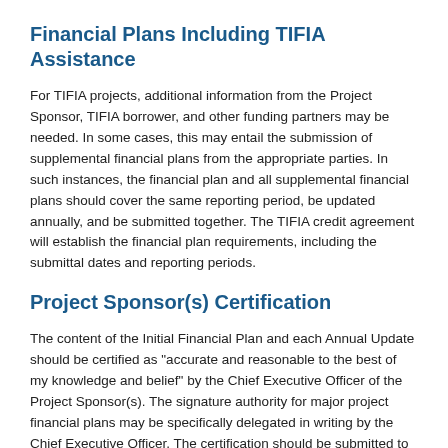Financial Plans Including TIFIA Assistance
For TIFIA projects, additional information from the Project Sponsor, TIFIA borrower, and other funding partners may be needed. In some cases, this may entail the submission of supplemental financial plans from the appropriate parties. In such instances, the financial plan and all supplemental financial plans should cover the same reporting period, be updated annually, and be submitted together. The TIFIA credit agreement will establish the financial plan requirements, including the submittal dates and reporting periods.
Project Sponsor(s) Certification
The content of the Initial Financial Plan and each Annual Update should be certified as "accurate and reasonable to the best of my knowledge and belief" by the Chief Executive Officer of the Project Sponsor(s). The signature authority for major project financial plans may be specifically delegated in writing by the Chief Executive Officer. The certification should be submitted to the FHWA division office with the financial plan. (See Attachment A, Sample Letter of Certification)
For TIFIA projects delivered through a P3 or concessionaire agreement, certifications should be provided from the Project